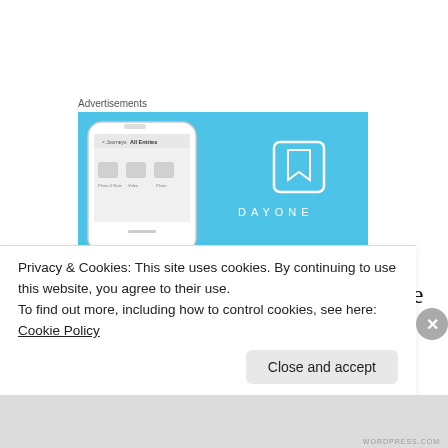Advertisements
[Figure (screenshot): DayOne app advertisement banner with phone mockup on blue background and DayOne logo and wordmark]
A long time ago they were sure that he would eventually give up, that the process had exhausted itself and that he himself already understood this. After the 2006 elections when
Privacy & Cookies: This site uses cookies. By continuing to use this website, you agree to their use.
To find out more, including how to control cookies, see here: Cookie Policy
Close and accept